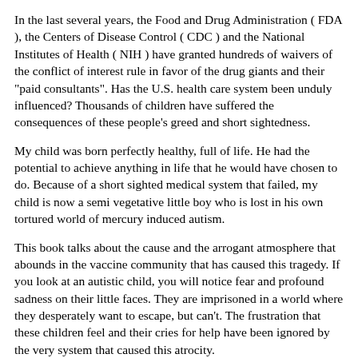In the last several years, the Food and Drug Administration ( FDA ), the Centers of Disease Control ( CDC ) and the National Institutes of Health ( NIH ) have granted hundreds of waivers of the conflict of interest rule in favor of the drug giants and their "paid consultants". Has the U.S. health care system been unduly influenced? Thousands of children have suffered the consequences of these people's greed and short sightedness.
My child was born perfectly healthy, full of life. He had the potential to achieve anything in life that he would have chosen to do. Because of a short sighted medical system that failed, my child is now a semi vegetative little boy who is lost in his own tortured world of mercury induced autism.
This book talks about the cause and the arrogant atmosphere that abounds in the vaccine community that has caused this tragedy. If you look at an autistic child, you will notice fear and profound sadness on their little faces. They are imprisoned in a world where they desperately want to escape, but can't. The frustration that these children feel and their cries for help have been ignored by the very system that caused this atrocity.
When I look upon other healthy six year old children who are playing, communicating and living normal lives, I wonder what might have been with my little boy. I am sure I am not alone in my